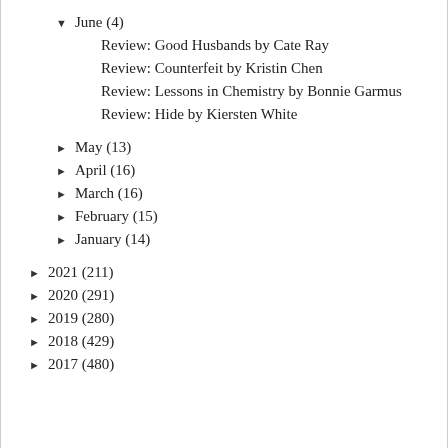▼ June (4)
Review: Good Husbands by Cate Ray
Review: Counterfeit by Kristin Chen
Review: Lessons in Chemistry by Bonnie Garmus
Review: Hide by Kiersten White
► May (13)
► April (16)
► March (16)
► February (15)
► January (14)
► 2021 (211)
► 2020 (291)
► 2019 (280)
► 2018 (429)
► 2017 (480)